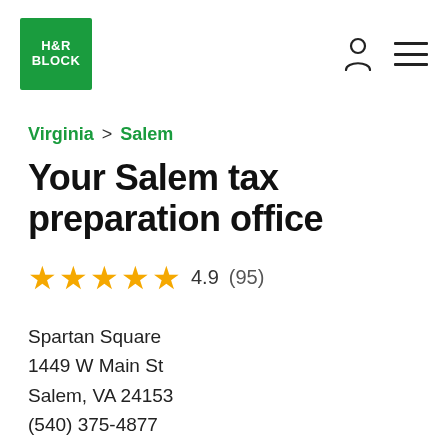[Figure (logo): H&R Block green square logo with white text reading H&R BLOCK]
Virginia > Salem
Your Salem tax preparation office
4.9 (95) — five star rating
Spartan Square
1449 W Main St
Salem, VA 24153
(540) 375-4877